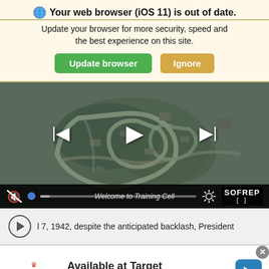Your web browser (iOS 11) is out of date.
Update your browser for more security, speed and the best experience on this site.
[Figure (screenshot): Browser update banner with Update browser (green) and Ignore (tan) buttons]
[Figure (screenshot): Aerial video player showing military training cell from above, with playback controls, mute icon, progress bar, SOFREP watermark, and caption 'Welcome to Training Cell']
l 7, 1942, despite the anticipated backlash, President
[Figure (infographic): Cremo advertisement: Available at Target, Cremocompany.com with blue arrow icon and X close button]